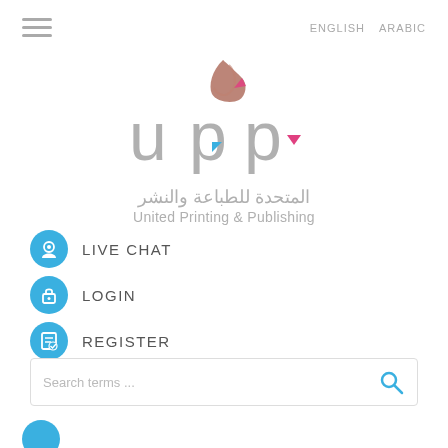[Figure (logo): Hamburger menu icon (three horizontal lines) in top left]
ENGLISH   ARABIC
[Figure (logo): UPP (United Printing & Publishing) logo with Arabic calligraphy above the UPP lettering]
المتحدة للطباعة والنشر
United Printing & Publishing
LIVE CHAT
LOGIN
REGISTER
Search terms ...